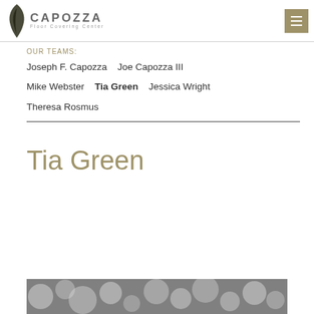[Figure (logo): Capozza Floor Covering Center logo with black bird silhouette icon and text]
[Figure (other): Hamburger menu button square in olive/tan color with three white horizontal lines]
OUR TEAMS:
Joseph F. Capozza   Joe Capozza III   Mike Webster   Tia Green   Jessica Wright   Theresa Rosmus
Tia Green
[Figure (photo): Partial view of a black and white bokeh/blurred circular lights photograph]